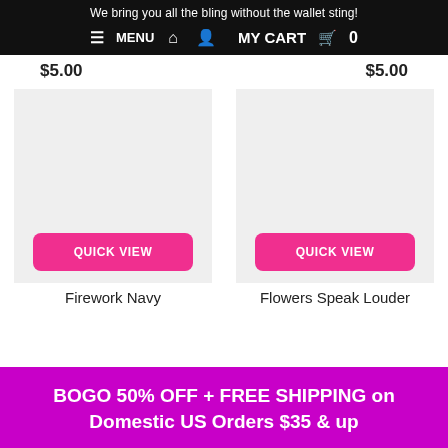We bring you all the bling without the wallet sting!
≡ MENU  🏠  👤  MY CART  🧳  0
$5.00   $5.00
[Figure (photo): Product image placeholder left - Firework Navy]
[Figure (photo): Product image placeholder right - Flowers Speak Louder]
Firework Navy
Flowers Speak Louder
BOGO 50% OFF + FREE SHIPPING on Domestic US Orders $35 & up